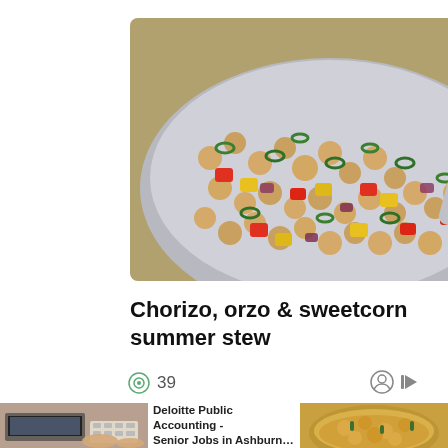[Figure (photo): A bowl of colorful chickpea salad with red peppers, yellow bell peppers, green onions, and other vegetables, with two silver spoons resting in the bowl, on a wooden surface]
Chorizo, orzo & sweetcorn summer stew
39
[Figure (photo): Advertisement showing a person working at a laptop with a calculator - Deloitte Public Accounting Senior Jobs in Ashburn. Two ad images side by side.]